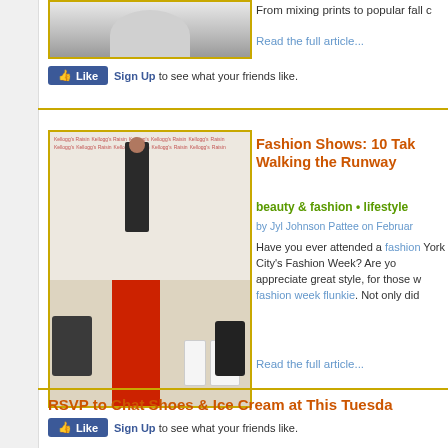[Figure (photo): Partial top image of a person visible at top of page]
From mixing prints to popular fall c
Read the full article...
Sign Up to see what your friends like.
[Figure (photo): Fashion show photo with model on red carpet runway, backdrop with repeated logos, photographer and onlookers seated]
Fashion Shows: 10 Tak Walking the Runway
beauty & fashion • lifestyle
by Jyl Johnson Pattee on Februar
Have you ever attended a fashion York City's Fashion Week? Are yo appreciate great style, for those w fashion week flunkie. Not only did
Read the full article...
Sign Up to see what your friends like.
RSVP to Chat Shoes & Ice Cream at This Tuesda